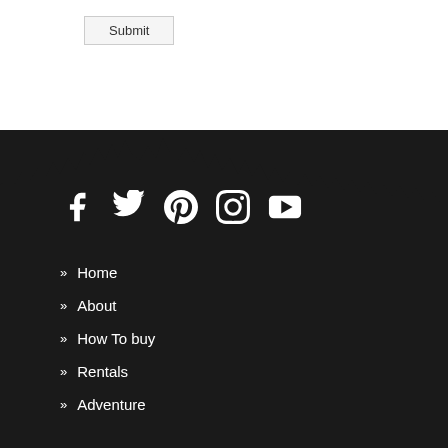Submit
[Figure (illustration): Mountain silhouette background used as website footer with jagged peaks in dark/black color]
[Figure (infographic): Social media icons row: Facebook, Twitter, Pinterest, Instagram, YouTube — all white on dark background]
» Home
» About
» How To buy
» Rentals
» Adventure